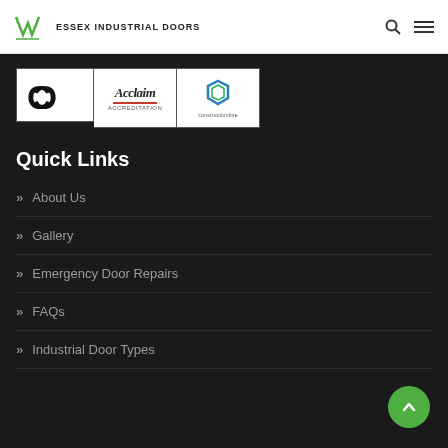Wessex Industrial Doors
[Figure (logo): CE mark certification logo]
[Figure (logo): Acclaim Accreditation logo]
[Figure (logo): Constructionline logo]
Quick Links
About Us
Gallery
Emergency Door Repairs
FAQs
Industrial Door Types